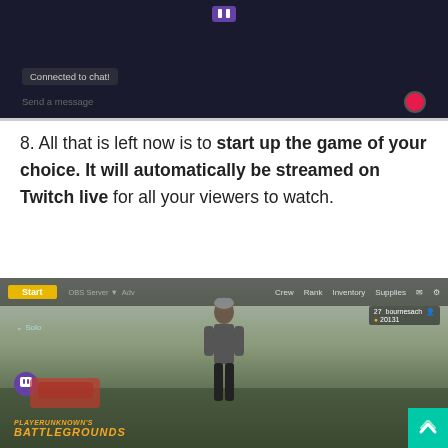[Figure (screenshot): Twitch chat interface screenshot showing 'Connected to chat!' message, 'Send a message' input area with red recording dot]
8. All that is left now is to start up the game of your choice. It will automatically be streamed on Twitch live for all your viewers to watch.
[Figure (screenshot): PUBG Mobile game screenshot showing character standing in outdoor environment with game UI elements including Start button, Crew, Rank, Inventory, Supplies menus, Twitch badge overlay, and PUBG Battlegrounds logo]